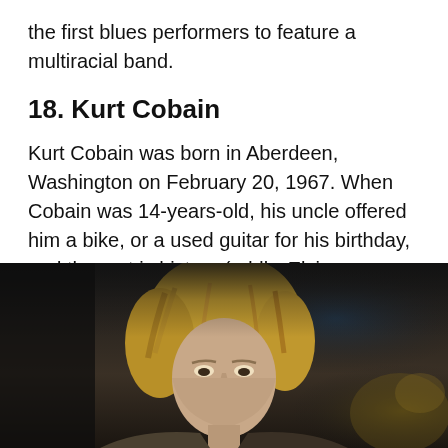the first blues performers to feature a multiracial band.
18. Kurt Cobain
Kurt Cobain was born in Aberdeen, Washington on February 20, 1967. When Cobain was 14-years-old, his uncle offered him a bike, or a used guitar for his birthday, and the rest is history (oddly, Elvis was given the same choice, but instead of a bike it was a rifle).
[Figure (photo): Photo of Kurt Cobain with blonde hair, performing, dark background with stage lighting]